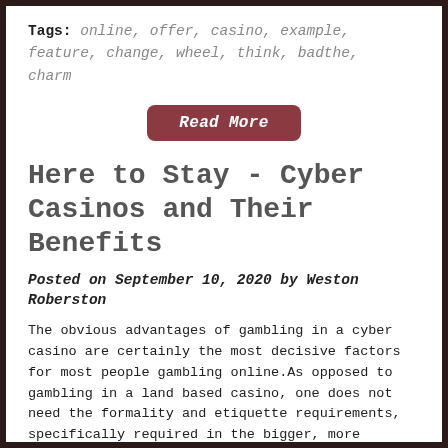Tags: online, offer, casino, example, feature, change, wheel, think, badthe, charm
[Figure (other): Read More button — a dark red/crimson rounded rectangle button with italic white text reading 'Read More']
Here to Stay - Cyber Casinos and Their Benefits
Posted on September 10, 2020 by Weston Roberston
The obvious advantages of gambling in a cyber casino are certainly the most decisive factors for most people gambling online.As opposed to gambling in a land based casino, one does not need the formality and etiquette requirements, specifically required in the bigger, more